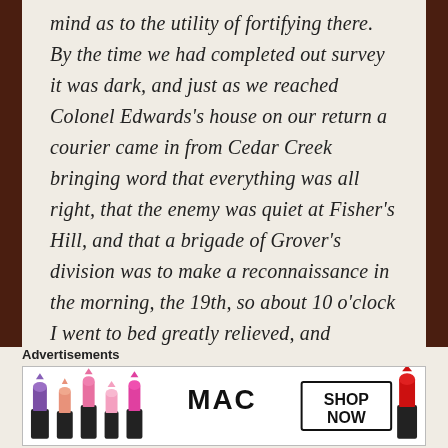mind as to the utility of fortifying there. By the time we had completed out survey it was dark, and just as we reached Colonel Edwards's house on our return a courier came in from Cedar Creek bringing word that everything was all right, that the enemy was quiet at Fisher's Hill, and that a brigade of Grover's division was to make a reconnaissance in the morning, the 19th, so about 10 o'clock I went to bed greatly relieved, and expecting to rejoin my headquarters at my leisure next day.
Advertisements
[Figure (illustration): MAC Cosmetics advertisement banner showing colorful lipsticks (purple, peach, pink, red) with MAC logo and SHOP NOW button]